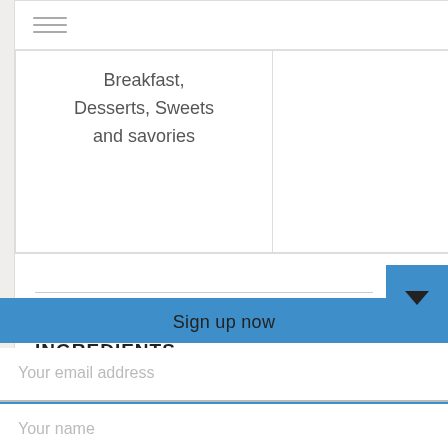[Figure (screenshot): Hamburger menu icon (three horizontal lines)]
| Breakfast, Desserts, Sweets and savories | American, Autumn, Baby toddler food, Fusion, International, Kids choice, Spring, Winter |
[Figure (illustration): Fork and knife crossed icon as a divider]
INGREDIENTS
For Pancakes - wet ingredients
Sign up now
Your email address
Your name
SUBSCRIBE